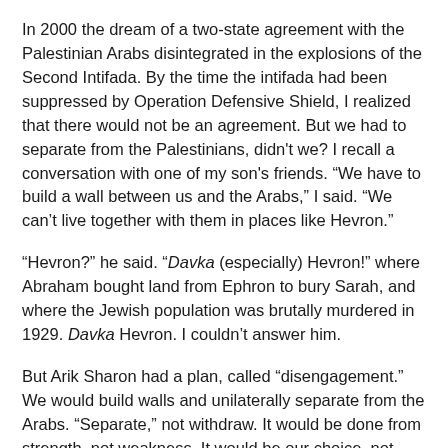In 2000 the dream of a two-state agreement with the Palestinian Arabs disintegrated in the explosions of the Second Intifada. By the time the intifada had been suppressed by Operation Defensive Shield, I realized that there would not be an agreement. But we had to separate from the Palestinians, didn't we? I recall a conversation with one of my son's friends. “We have to build a wall between us and the Arabs,” I said. “We can’t live together with them in places like Hevron.”
“Hevron?” he said. “Davka (especially) Hevron!” where Abraham bought land from Ephron to bury Sarah, and where the Jewish population was brutally murdered in 1929. Davka Hevron. I couldn’t answer him.
But Arik Sharon had a plan, called “disengagement.” We would build walls and unilaterally separate from the Arabs. “Separate,” not withdraw. It would be done from strength, not weakness. It would be our choice, not theirs. If they tried anything, we’d crush them.